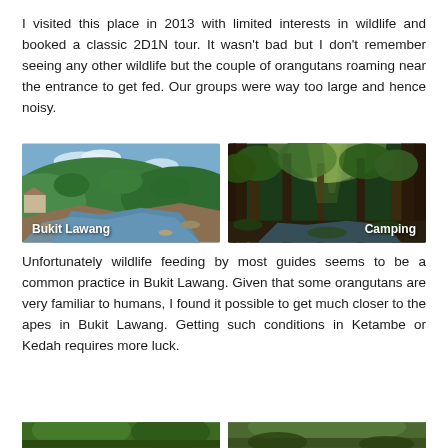I visited this place in 2013 with limited interests in wildlife and booked a classic 2D1N tour. It wasn't bad but I don't remember seeing any other wildlife but the couple of orangutans roaming near the entrance to get fed. Our groups were way too large and hence noisy.
[Figure (photo): Photo of Bukit Lawang showing a river with rocky banks, lush green hills in the background, and a small structure on the left. Label 'Bukit Lawang' in white bold text at bottom left.]
[Figure (photo): Photo of a dense tropical rainforest with tall trees, green foliage, and dappled light filtering through the canopy. A small stream visible at the bottom. Label 'Camping' in white bold text at bottom right area.]
Unfortunately wildlife feeding by most guides seems to be a common practice in Bukit Lawang. Given that some orangutans are very familiar to humans, I found it possible to get much closer to the apes in Bukit Lawang. Getting such conditions in Ketambe or Kedah requires more luck.
[Figure (photo): Partial view of two photos at the bottom of the page, cut off — showing green jungle/wildlife scenes.]